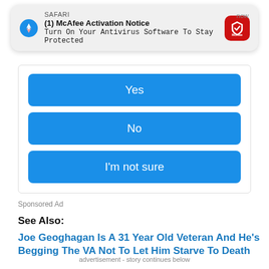[Figure (screenshot): Safari browser notification popup showing McAfee Activation Notice with compass icon and McAfee red logo icon]
[Figure (screenshot): Mobile ad with three blue buttons: Yes, No, I'm not sure]
Sponsored Ad
See Also:
Joe Geoghagan Is A 31 Year Old Veteran And He's Begging The VA Not To Let Him Starve To Death
advertisement - story continues below